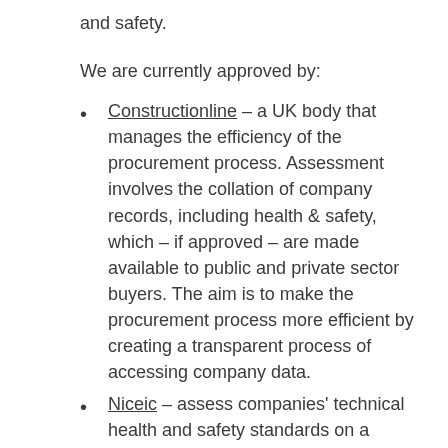and safety.
We are currently approved by:
Constructionline – a UK body that manages the efficiency of the procurement process. Assessment involves the collation of company records, including health & safety, which – if approved – are made available to public and private sector buyers. The aim is to make the procurement process more efficient by creating a transparent process of accessing company data.
Niceic – assess companies' technical health and safety standards on a regular basis in order to provide customers with a guarantee of the company's